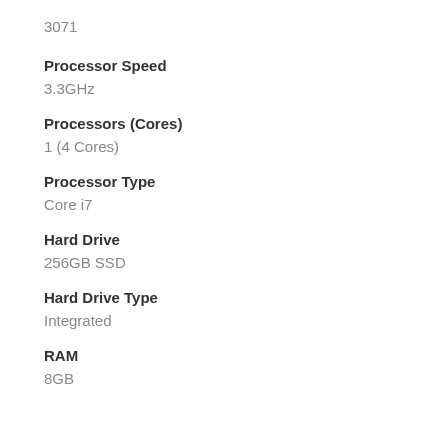3071
Processor Speed
3.3GHz
Processors (Cores)
1 (4 Cores)
Processor Type
Core i7
Hard Drive
256GB SSD
Hard Drive Type
Integrated
RAM
8GB